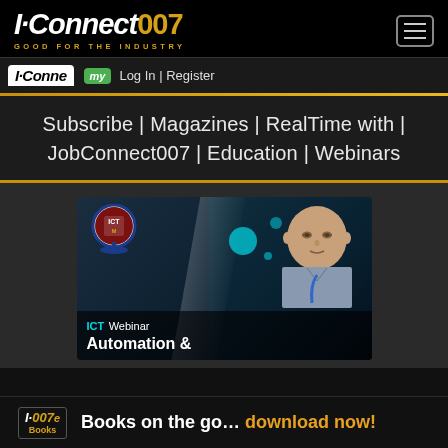I-Connect007 GOOD FOR THE INDUSTRY
my Log In | Register
Subscribe | Magazines | RealTime with | JobConnect007 | Education | Webinars
[Figure (screenshot): ICT Webinar thumbnail featuring an elderly man with glasses and an ICT logo on a dark teal/blue background with tech circuit elements. Text reads: ICT Webinar Automation &]
I-007e Books Books on the go... download now!